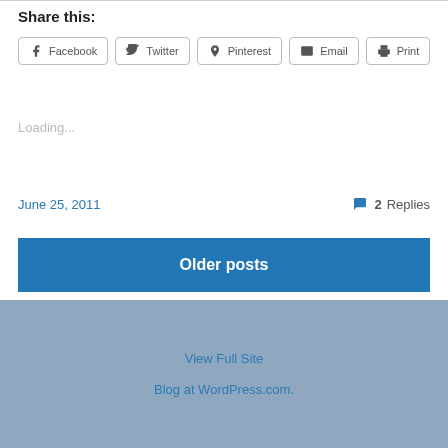Share this:
Facebook  Twitter  Pinterest  Email  Print
Loading...
June 25, 2011
2 Replies
Older posts
View Full Site
Blog at WordPress.com.